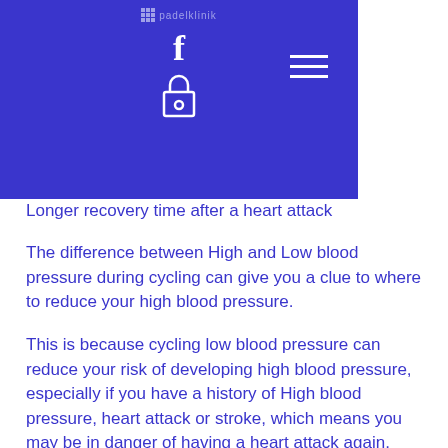padelklinik — website header with Facebook icon, cart icon, and hamburger menu
Longer recovery time after a heart attack
The difference between High and Low blood pressure during cycling can give you a clue to where to reduce your high blood pressure.
This is because cycling low blood pressure can reduce your risk of developing high blood pressure, especially if you have a history of High blood pressure, heart attack or stroke, which means you may be in danger of having a heart attack again.
For example, if you have high BP, you could be at risk of high blood pressure...